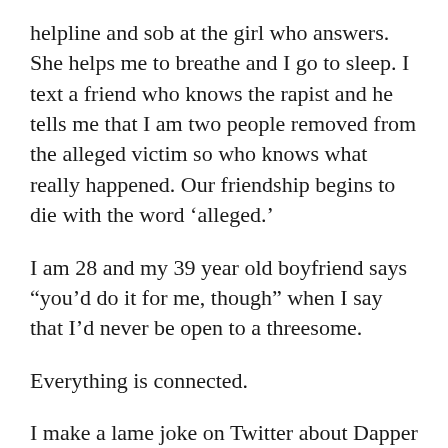helpline and sob at the girl who answers. She helps me to breathe and I go to sleep. I text a friend who knows the rapist and he tells me that I am two people removed from the alleged victim so who knows what really happened. Our friendship begins to die with the word ‘alleged.’
I am 28 and my 39 year old boyfriend says “you’d do it for me, though” when I say that I’d never be open to a threesome.
Everything is connected.
I make a lame joke on Twitter about Dapper Laughs and the black polo-neck sweater he wore to make a Newsnight apology for his